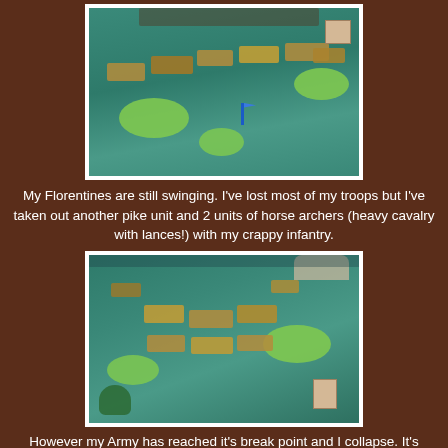[Figure (photo): Overhead photo of a tabletop wargame in progress, showing miniature soldiers arrayed on a teal/green felt surface with yellow-green hill terrain pieces and a small building model. Multiple unit bases of infantry and cavalry visible.]
My Florentines are still swinging. I've lost most of my troops but I've taken out another pike unit and 2 units of horse archers (heavy cavalry with lances!) with my crappy infantry.
[Figure (photo): Another photo of the same tabletop wargame from a slightly different angle, showing fewer units remaining on the teal felt surface with yellow-green hill terrain pieces. Player's hand visible in the background.]
However my Army has reached it's break point and I collapse. It's 5.00pm and I've really knocked the French about. However with John still too far away and Pete getting